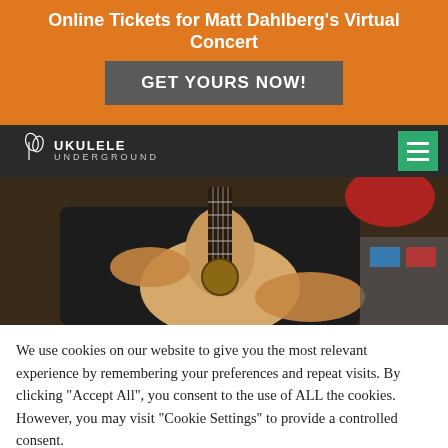Online Tickets for Matt Dahlberg's Virtual Concert
GET YOURS NOW!
[Figure (screenshot): Ukulele Underground logo with navigation bar on dark background, with green hamburger menu icon on the right]
[Figure (photo): Person playing a ukulele/guitar, wearing a black shirt, with colorful background]
We use cookies on our website to give you the most relevant experience by remembering your preferences and repeat visits. By clicking "Accept All", you consent to the use of ALL the cookies. However, you may visit "Cookie Settings" to provide a controlled consent.
Cookie Settings
Accept All